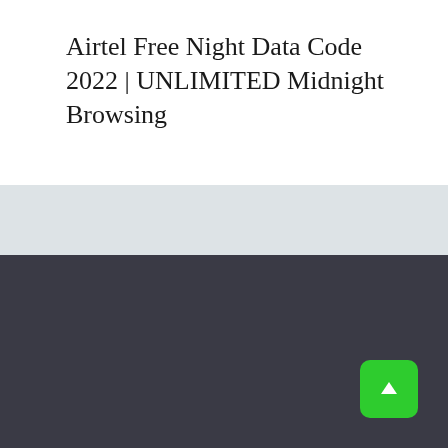Airtel Free Night Data Code 2022 | UNLIMITED Midnight Browsing
[Figure (other): Dark-themed webpage background with light gray middle band and dark navy lower section, plus a green scroll-to-top button in the bottom right corner.]